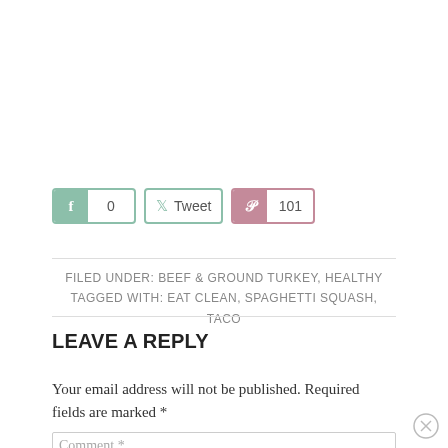[Figure (other): Social sharing buttons: Facebook with count 0, Twitter Tweet button, Pinterest with count 101]
FILED UNDER: BEEF & GROUND TURKEY, HEALTHY
TAGGED WITH: EAT CLEAN, SPAGHETTI SQUASH, TACO
LEAVE A REPLY
Your email address will not be published. Required fields are marked *
Comment *